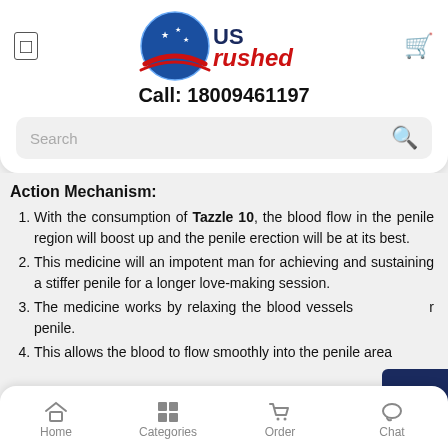[Figure (logo): USrushed logo with globe and American flag swoosh, blue and red text]
Call: 18009461197
Action Mechanism:
With the consumption of Tazzle 10, the blood flow in the penile region will boost up and the penile erection will be at its best.
This medicine will an impotent man for achieving and sustaining a stiffer penile for a longer love-making session.
The medicine works by relaxing the blood vessels r penile.
This allows the blood to flow smoothly into the penile area